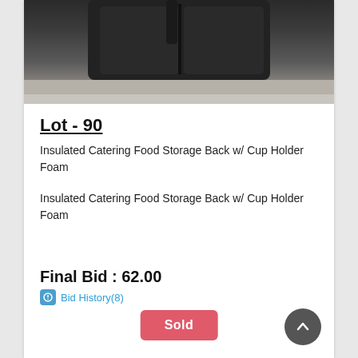[Figure (photo): Photo of a black insulated catering food storage bag with strap, shown from above on a light surface.]
Lot - 90
Insulated Catering Food Storage Back w/ Cup Holder Foam
Insulated Catering Food Storage Back w/ Cup Holder Foam
Final Bid : 62.00
Bid History(8)
Sold